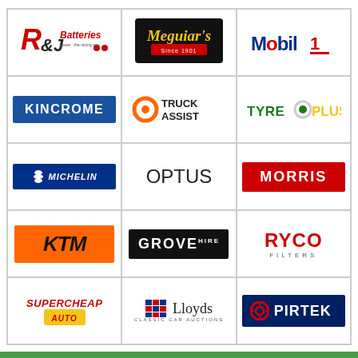[Figure (logo): R&J Batteries logo]
[Figure (logo): Meguiar's logo]
[Figure (logo): Mobil 1 logo]
[Figure (logo): Kincrome logo]
[Figure (logo): Truck Assist logo]
[Figure (logo): Tyre Plus logo]
[Figure (logo): Michelin logo]
[Figure (logo): Optus logo]
[Figure (logo): Morris logo]
[Figure (logo): KTM logo]
[Figure (logo): Grove Hire logo]
[Figure (logo): Ryco Filters logo]
[Figure (logo): Supercheap Auto logo]
[Figure (logo): Lloyds Classic Car Auctions logo]
[Figure (logo): Pirtek logo]